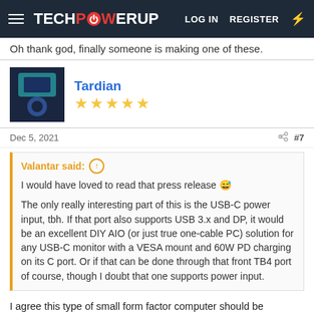TECHPOWERUP — LOG IN  REGISTER
Oh thank god, finally someone is making one of these.
Tardian
★★★★★
Dec 5, 2021  #7
Valantar said: ↑
I would have loved to read that press release 😅

The only really interesting part of this is the USB-C power input, tbh. If that port also supports USB 3.x and DP, it would be an excellent DIY AIO (or just true one-cable PC) solution for any USB-C monitor with a VESA mount and 60W PD charging on its C port. Or if that can be done through that front TB4 port of course, though I doubt that one supports power input.
I agree this type of small form factor computer should be powered by USB-C especially with USB4 being implemented.